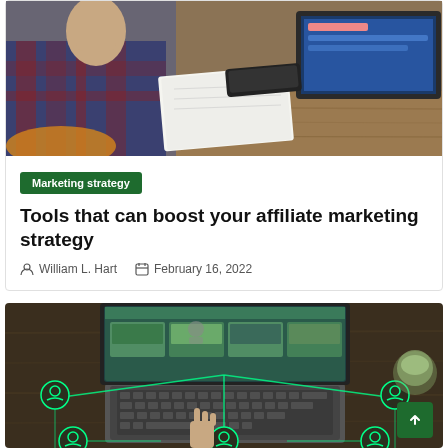[Figure (photo): Person in plaid shirt sitting at desk with laptop and notebook, another laptop in background]
Marketing strategy
Tools that can boost your affiliate marketing strategy
William L. Hart   February 16, 2022
[Figure (photo): Aerial view of laptop on wooden desk with glowing network connection icons and person's hand, digital technology concept]